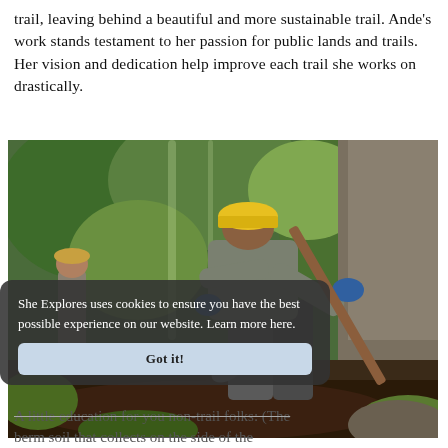trail, leaving behind a beautiful and more sustainable trail. Ande's work stands testament to her passion for public lands and trails. Her vision and dedication help improve each trail she works on drastically.
[Figure (photo): A person wearing a yellow hard hat and gray shirt bends over using a shovel or tool to work on a trail. Green vegetation and trees are visible in the background. Another person in the background watches.]
She Explores uses cookies to ensure you have the best possible experience on our website. Learn more here.
Got it!
A little education for you non-trail folks: (The
berm soil that collects on the side of the